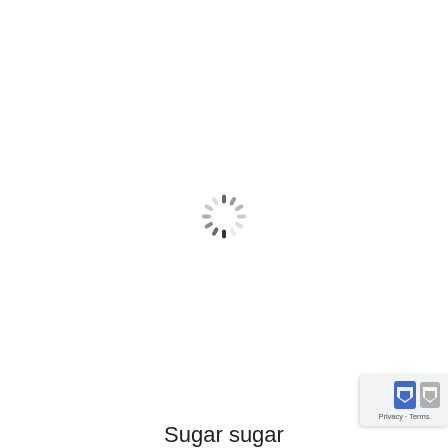[Figure (other): Loading spinner (circular dashed/segmented animation indicator) centered on a white background]
[Figure (other): Privacy badge in bottom-right corner with two arrow/chevron icons (blue and gray) and 'Privacy · Terms' text]
Sugar sugar